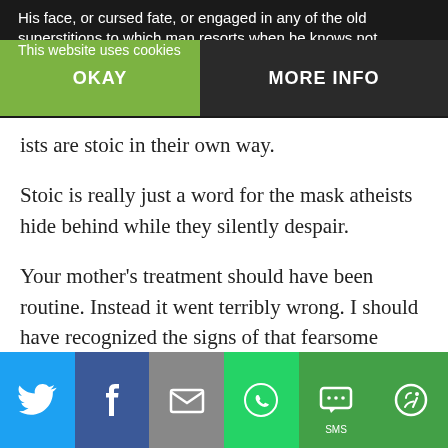His face, or cursed fate, or engaged in any of the old superstitions to which man resorts when he knows not
This website uses cookies
OKAY
MORE INFO
ists are stoic in their own way.
Stoic is really just a word for the mask atheists hide behind while they silently despair.
Your mother’s treatment should have been routine. Instead it went terribly wrong. I should have recognized the signs of that fearsome condition from the start, Miguel. In my earlier days, working on my PhD in immunology, I had described it in the medical literature and mapped out the complex biochemical cascade that lies behind it. But Disseminated Intravascular Coagulopathy was simply not seen much
Social sharing bar: Twitter, Facebook, Email, WhatsApp, SMS, More